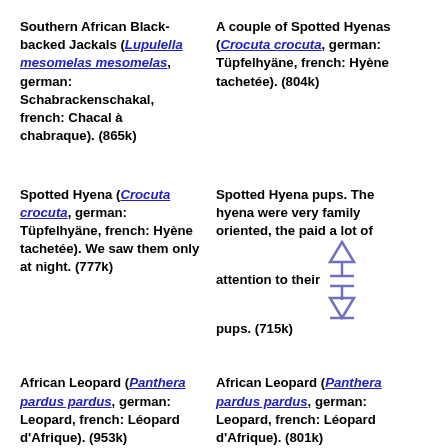Southern African Black-backed Jackals (Lupulella mesomelas mesomelas, german: Schabrackenschakal, french: Chacal à chabraque). (865k)
A couple of Spotted Hyenas (Crocuta crocuta, german: Tüpfelhyäne, french: Hyène tachetée). (804k)
Spotted Hyena (Crocuta crocuta, german: Tüpfelhyäne, french: Hyène tachetée). We saw them only at night. (777k)
Spotted Hyena pups. The hyena were very family oriented, the paid a lot of attention to their pups. (715k)
African Leopard (Panthera pardus pardus, german: Leopard, french: Léopard d'Afrique). (953k)
African Leopard (Panthera pardus pardus, german: Leopard, french: Léopard d'Afrique). (801k)